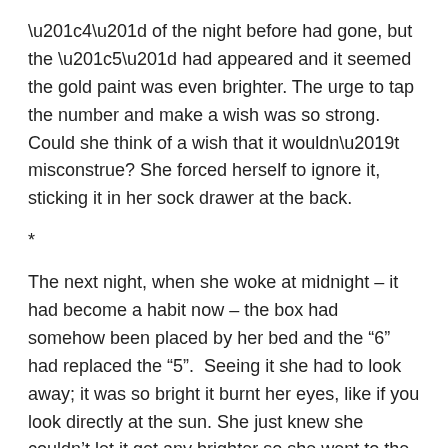‘4’ of the night before had gone, but the ‘5’ had appeared and it seemed the gold paint was even brighter. The urge to tap the number and make a wish was so strong. Could she think of a wish that it wouldn’t misconstrue? She forced herself to ignore it, sticking it in her sock drawer at the back.
*
The next night, when she woke at midnight – it had become a habit now – the box had somehow been placed by her bed and the ‘6’ had replaced the ‘5’.  Seeing it she had to look away; it was so bright it burnt her eyes, like if you look directly at the sun. She just knew she couldn’t let it get any brighter so she went to the bathroom and splashed water on her face. As she did so, she saw, with horror, a large spot had erupted on her chin. That would